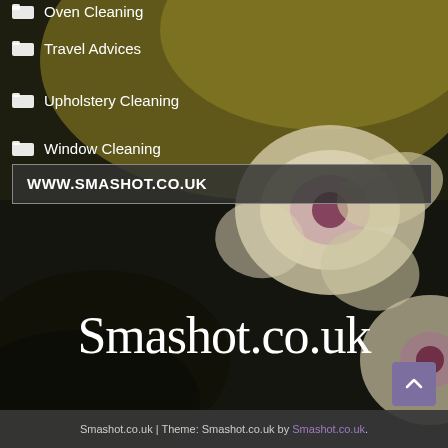[Figure (photo): Dark background with flowers (white and purple petals) on a dark olive/charcoal bokeh background, used as website background image]
Oven Cleaning
Travel Advices
Upholstery Cleaning
Window Cleaning
WWW.SMASHOT.CO.UK
Smashot.co.uk
Smashot.co.uk | Theme: Smashot.co.uk by Smashot.co.uk.